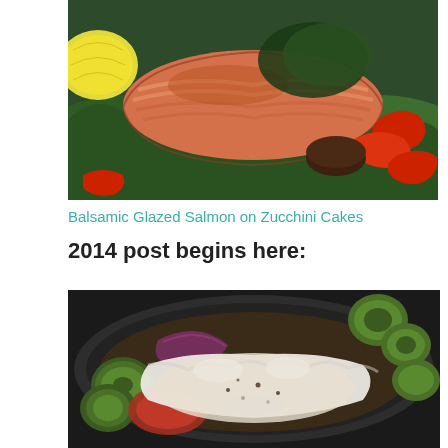[Figure (photo): Close-up photo of balsamic glazed salmon fillet on a bed of dark leafy greens with roasted red peppers and mushrooms, with a lemon wedge visible on the left side.]
Balsamic Glazed Salmon on Zucchini Cakes
2014 post begins here:
[Figure (photo): Photo of a dark pan containing poached or baked fish with melted cheese on top, surrounded by grilled zucchini slices, onions, and other roasted vegetables.]